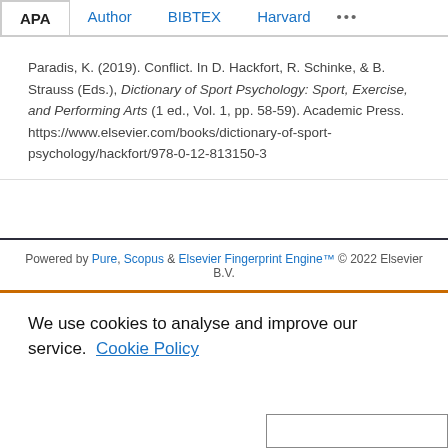APA  Author  BIBTEX  Harvard  ...
Paradis, K. (2019). Conflict. In D. Hackfort, R. Schinke, & B. Strauss (Eds.), Dictionary of Sport Psychology: Sport, Exercise, and Performing Arts (1 ed., Vol. 1, pp. 58-59). Academic Press. https://www.elsevier.com/books/dictionary-of-sport-psychology/hackfort/978-0-12-813150-3
Powered by Pure, Scopus & Elsevier Fingerprint Engine™ © 2022 Elsevier B.V.
We use cookies to analyse and improve our service. Cookie Policy